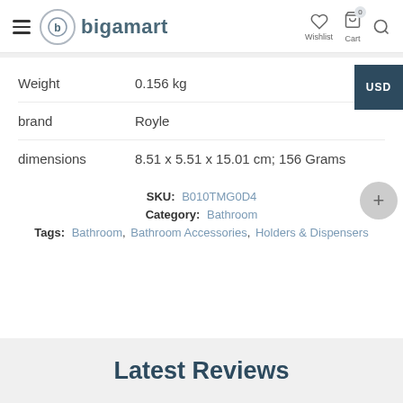bigamart — Wishlist, Cart, Search navigation
| Attribute | Value |
| --- | --- |
| Weight | 0.156 kg |
| brand | Royle |
| dimensions | 8.51 x 5.51 x 15.01 cm; 156 Grams |
SKU: B010TMG0D4   Category: Bathroom   Tags: Bathroom, Bathroom Accessories, Holders & Dispensers
Latest Reviews